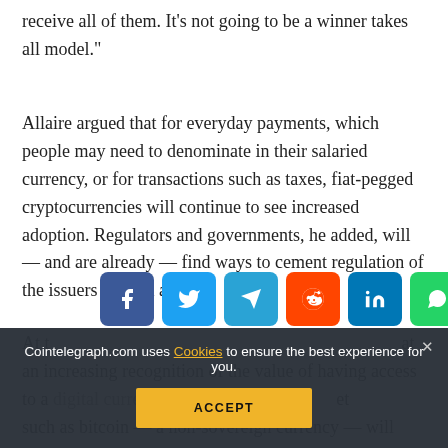receive all of them. It’s not going to be a winner takes all model.”
Allaire argued that for everyday payments, which people may need to denominate in their salaried currency, or for transactions such as taxes, fiat-pegged cryptocurrencies will continue to see increased adoption. Regulators and governments, he added, will — and are already — find ways to cement regulation of the issuers of such assets.
At t... an increasing recognition of the value of having access to a... such as bitcoin — a non-sovereign currency — will ensure its continue...
[Figure (infographic): Social media share buttons: Facebook (blue), Twitter (light blue), Telegram (teal), Reddit (orange), LinkedIn (dark blue), WhatsApp (green), Copy (grey), Scroll-up (yellow)]
Cointelegraph.com uses Cookies to ensure the best experience for you.
ACCEPT